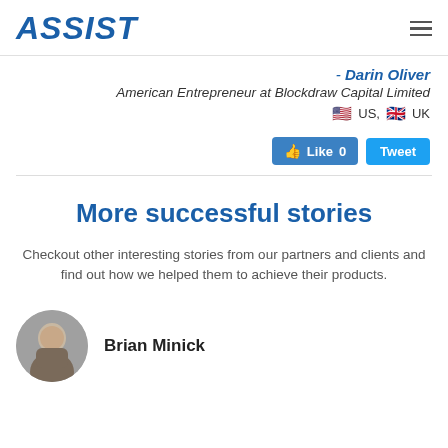ASSIST
- Darin Oliver
American Entrepreneur at Blockdraw Capital Limited
US, UK
[Figure (other): Facebook Like button with count 0 and Tweet button]
More successful stories
Checkout other interesting stories from our partners and clients and find out how we helped them to achieve their products.
Brian Minick
[Figure (photo): Circular avatar photo of Brian Minick]